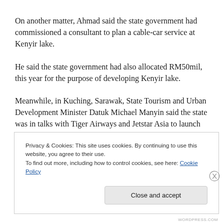On another matter, Ahmad said the state government had commissioned a consultant to plan a cable-car service at Kenyir lake.
He said the state government had also allocated RM50mil, this year for the purpose of developing Kenyir lake.
Meanwhile, in Kuching, Sarawak, State Tourism and Urban Development Minister Datuk Michael Manyin said the state was in talks with Tiger Airways and Jetstar Asia to launch direct flights between Singapore and Miri.
Privacy & Cookies: This site uses cookies. By continuing to use this website, you agree to their use.
To find out more, including how to control cookies, see here: Cookie Policy
Close and accept